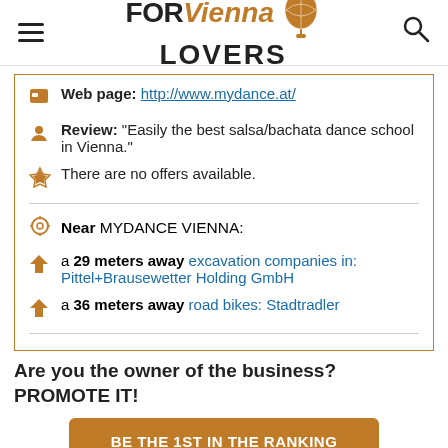FOR Vienna LOVERS [logo with balloon]
Web page: http://www.mydance.at/
Review: "Easily the best salsa/bachata dance school in Vienna."
There are no offers available.
Near MYDANCE VIENNA:
a 29 meters away excavation companies in: Pittel+Brausewetter Holding GmbH
a 36 meters away road bikes: Stadtradler
Are you the owner of the business? PROMOTE IT!
BE THE 1ST IN THE RANKING